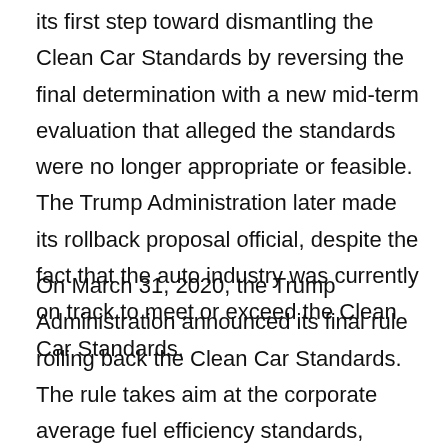its first step toward dismantling the Clean Car Standards by reversing the final determination with a new mid-term evaluation that alleged the standards were no longer appropriate or feasible. The Trump Administration later made its rollback proposal official, despite the fact that the auto industry was currently on track to meet or exceed the Clean Car Standards.
On March 31, 2020, the Trump Administration announced its final rule rolling back the Clean Car Standards. The rule takes aim at the corporate average fuel efficiency standards, requiring automakers to make only minimal